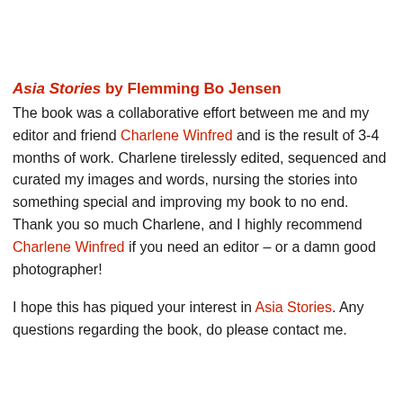Asia Stories by Flemming Bo Jensen
The book was a collaborative effort between me and my editor and friend Charlene Winfred and is the result of 3-4 months of work. Charlene tirelessly edited, sequenced and curated my images and words, nursing the stories into something special and improving my book to no end. Thank you so much Charlene, and I highly recommend Charlene Winfred if you need an editor – or a damn good photographer!
I hope this has piqued your interest in Asia Stories. Any questions regarding the book, do please contact me.